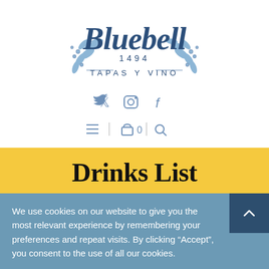[Figure (logo): Bluebell 1494 Tapas Y Vino logo with decorative floral/laurel wreath in blue, cursive script for 'Bluebell' and serif/spaced caps for '1494 TAPAS Y VINO']
[Figure (infographic): Social media icons: Twitter bird, Instagram camera, Facebook f — shown in blue/grey]
[Figure (infographic): Navigation bar with hamburger menu icon, vertical separator, shopping bag icon with '0' count, vertical separator, search/magnifier icon]
Drinks List
We use cookies on our website to give you the most relevant experience by remembering your preferences and repeat visits. By clicking “Accept”, you consent to the use of all our cookies.
Cookie settings   ACCEPT